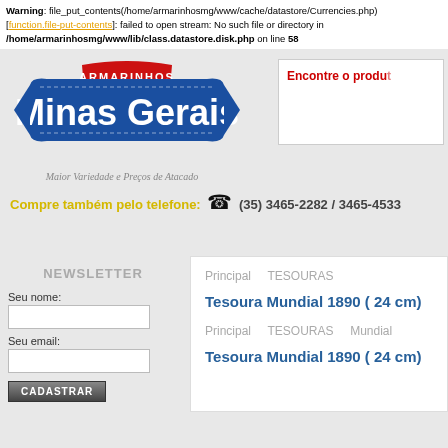Warning: file_put_contents(/home/armarinhosmg/www/cache/datastore/Currencies.php) [function.file-put-contents]: failed to open stream: No such file or directory in /home/armarinhosmg/www/lib/class.datastore.disk.php on line 58
[Figure (logo): Armarinhos Minas Gerais logo - blue ribbon with white text, red banner on top]
Maior Variedade e Preços de Atacado
Encontre o produto
Compre também pelo telefone: ☎ (35) 3465-2282 / 3465-4533
NEWSLETTER
Seu nome:
Seu email:
CADASTRAR
Principal   TESOURAS
Tesoura Mundial 1890 ( 24 cm)
Principal   TESOURAS   Mundial
Tesoura Mundial 1890 ( 24 cm)